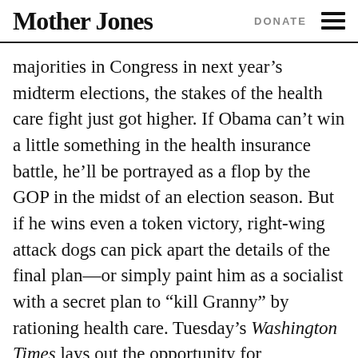Mother Jones | DONATE
majorities in Congress in next year’s midterm elections, the stakes of the health care fight just got higher. If Obama can’t win a little something in the health insurance battle, he’ll be portrayed as a flop by the GOP in the midst of an election season. But if he wins even a token victory, right-wing attack dogs can pick apart the details of the final plan—or simply paint him as a socialist with a secret plan to “kill Granny” by rationing health care. Tuesday’s Washington Times lays out the opportunity for Republicans:
“It would be hard to envision a political landscape as